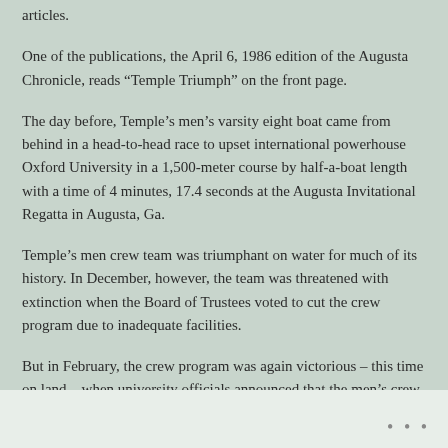articles.
One of the publications, the April 6, 1986 edition of the Augusta Chronicle, reads “Temple Triumph” on the front page.
The day before, Temple’s men’s varsity eight boat came from behind in a head-to-head race to upset international powerhouse Oxford University in a 1,500-meter course by half-a-boat length with a time of 4 minutes, 17.4 seconds at the Augusta Invitational Regatta in Augusta, Ga.
Temple’s men crew team was triumphant on water for much of its history. In December, however, the team was threatened with extinction when the Board of Trustees voted to cut the crew program due to inadequate facilities.
But in February, the crew program was again victorious – this time on land – when university officials announced that the men’s crew program, along with women’s rowing, were reinstated due to a $2.5 million donation from the city and a $3 million donation from trustee H.F. “Gerry” Lenfest to renovate the formerly condemned East Park Canoe House.
• • •